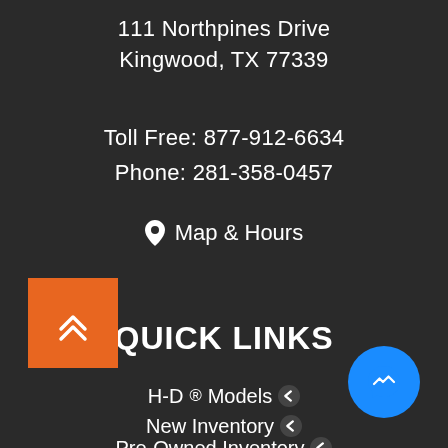111 Northpines Drive
Kingwood, TX 77339
Toll Free: 877-912-6634
Phone: 281-358-0457
Map & Hours
QUICK LINKS
H-D® Models
New Inventory
Pre-Owned Inventory
[Figure (other): Orange back-to-top button with double chevron up arrow]
[Figure (other): Blue circular Facebook Messenger chat button]